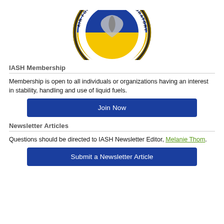[Figure (logo): Air Force Research Laboratory shield/crest logo with blue and yellow coloring, partially cropped at top]
IASH Membership
Membership is open to all individuals or organizations having an interest in stability, handling and use of liquid fuels.
[Figure (other): Join Now button (blue rectangle)]
Newsletter Articles
Questions should be directed to IASH Newsletter Editor, Melanie Thom.
[Figure (other): Submit a Newsletter Article button (blue rectangle)]